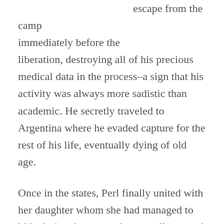escape from the camp immediately before the liberation, destroying all of his precious medical data in the process–a sign that his activity was always more sadistic than academic. He secretly traveled to Argentina where he evaded capture for the rest of his life, eventually dying of old age.
Once in the states, Perl finally united with her daughter whom she had managed to hide during the war and eventually moved to Israel where she peacefully passed away in 1988. During her time as a post-war figure, she penned a memoir, inspired a film, corroborated historical accounts on the Angel of Death, wrote several important medical papers on women's reproductive issues, and never, ever forgot the lost babies of Auschwitz.